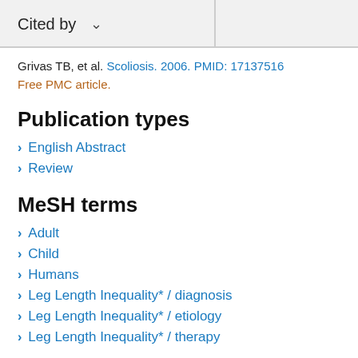Cited by
Grivas TB, et al. Scoliosis. 2006. PMID: 17137516
Free PMC article.
Publication types
English Abstract
Review
MeSH terms
Adult
Child
Humans
Leg Length Inequality* / diagnosis
Leg Length Inequality* / etiology
Leg Length Inequality* / therapy